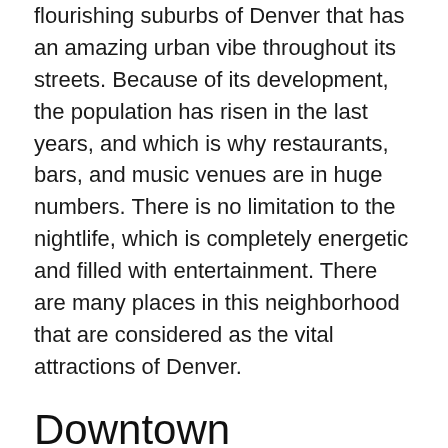flourishing suburbs of Denver that has an amazing urban vibe throughout its streets. Because of its development, the population has risen in the last years, and which is why restaurants, bars, and music venues are in huge numbers. There is no limitation to the nightlife, which is completely energetic and filled with entertainment. There are many places in this neighborhood that are considered as the vital attractions of Denver.
Downtown
Downtown is the favorite spot for singles because it opens the portal to elements like great public transportation, high rise apartments, and working areas within the walking range. This neighborhood tends to be one of the perfect areas for young souls because they can enjoy their life completely with the